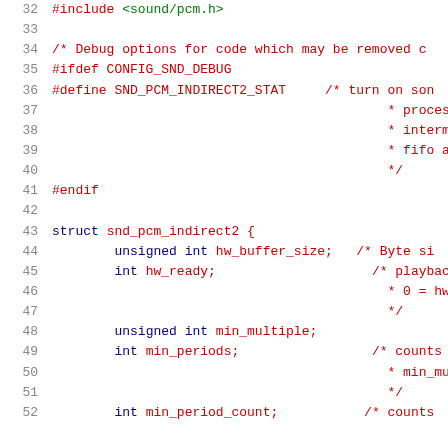[Figure (screenshot): Source code listing showing C header file lines 32-52, including #include, preprocessor directives for debug options, and struct snd_pcm_indirect2 definition with member variables.]